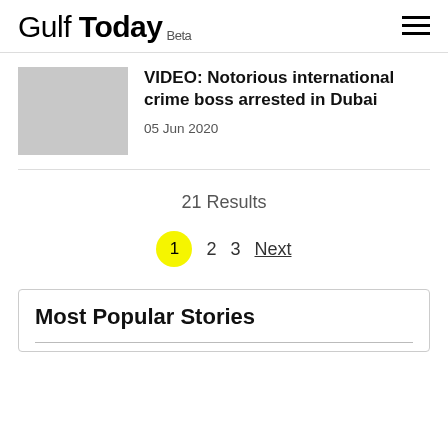Gulf Today Beta
VIDEO: Notorious international crime boss arrested in Dubai
05 Jun 2020
21 Results
1  2  3  Next
Most Popular Stories